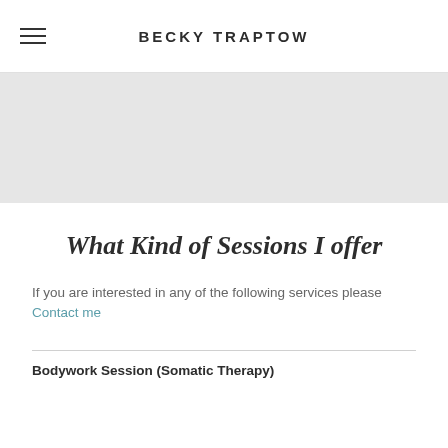BECKY TRAPTOW
[Figure (other): Gray hero banner / image placeholder area]
What Kind of Sessions I offer
If you are interested in any of the following services please Contact me
Bodywork Session (Somatic Therapy)